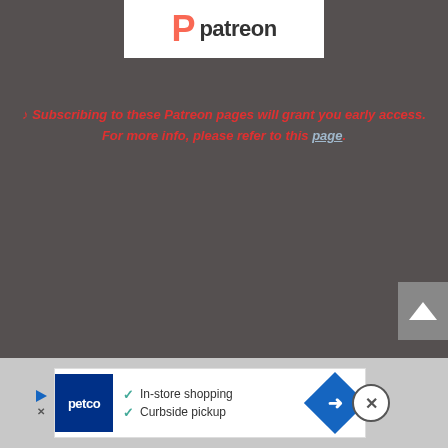[Figure (logo): Patreon logo — stylized P icon in orange/red with 'patreon' wordmark in dark text on white background]
♪ Subscribing to these Patreon pages will grant you early access. For more info, please refer to this page.
[Figure (screenshot): Back to top button — upward chevron arrow on grey background]
[Figure (screenshot): Petco advertisement banner with checkmarks for 'In-store shopping' and 'Curbside pickup', blue navigation icon, close button]